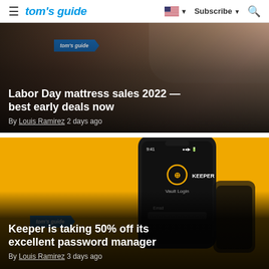tom's guide | Subscribe
[Figure (screenshot): Tom's Guide website screenshot showing article card with dark overlay: Labor Day mattress sales 2022 — best early deals now]
Labor Day mattress sales 2022 — best early deals now
By Louis Ramirez 2 days ago
[Figure (screenshot): Tom's Guide website screenshot showing Keeper password manager app on phone with yellow background]
Keeper is taking 50% off its excellent password manager
By Louis Ramirez 3 days ago